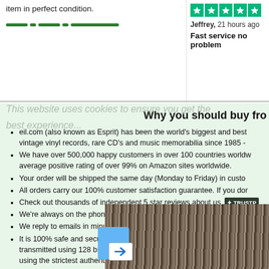item in perfect condition.
[Figure (other): Green star rating badges (Trustpilot style, 5 stars shown)]
Jeffrey, 21 hours ago
Fast service no problem
Why you should buy fro
eil.com (also known as Esprit) has been the world's biggest and best vintage vinyl records, rare CD's and music memorabilia since 1985 -
We have over 500,000 happy customers in over 100 countries worldw average positive rating of over 99% on Amazon sites worldwide.
Your order will be shipped the same day (Monday to Friday) in custo
All orders carry our 100% customer satisfaction guarantee. If you do
Check out thousands of independent 5 star reviews about us [TRUSTPILOT]
We're always on the phone to answer questions and help with any or
We reply to emails in minutes and hours, not days.
It is 100% safe and secure to order from us as we have been indepen transmitted using 128 bit encryption with 'Extended Validation SSL' a using the strictest authentication standard. See the padlock symbol s
This website uses cookies to ensure you get the best experience...
[Figure (photo): Photo of stacked vinyl records seen from the side, showing the spines of many records in a row]